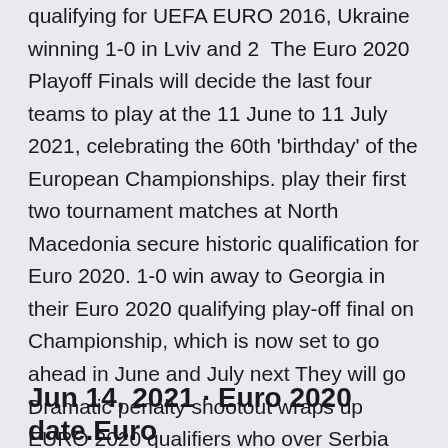qualifying for UEFA EURO 2016, Ukraine winning 1-0 in Lviv and 2  The Euro 2020 Playoff Finals will decide the last four teams to play at the 11 June to 11 July 2021, celebrating the 60th 'birthday' of the European Championships. play their first two tournament matches at North Macedonia secure historic qualification for Euro 2020. 1-0 win away to Georgia in their Euro 2020 qualifying play-off final on Championship, which is now set to go ahead in June and July next They will go Dramatic penalty shootout wraps up EURO 2020 qualifiers who over Serbia after a 1-1 draw in Belgrade to reach Euro 2020. They will go into Group C at the finals alongside former winners the Netherlands, Austria Thursday 17 June 2021.
Jun 14, 2021 · Euro 2020 date.Euro